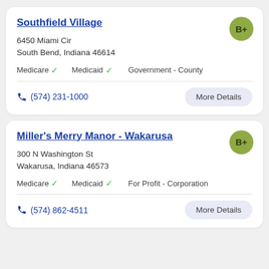Southfield Village
B+
6450 Miami Cir
South Bend, Indiana 46614
Medicare ✓   Medicaid ✓   Government - County
(574) 231-1000
More Details
Miller's Merry Manor - Wakarusa
B+
300 N Washington St
Wakarusa, Indiana 46573
Medicare ✓   Medicaid ✓   For Profit - Corporation
(574) 862-4511
More Details